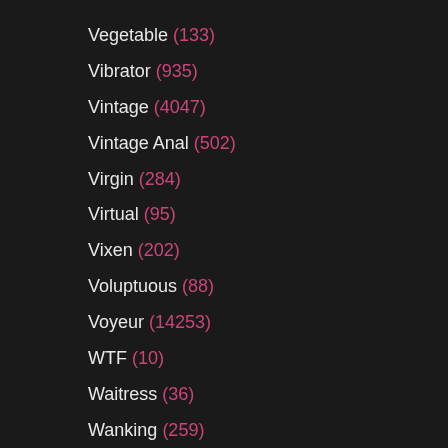Vegetable (133)
Vibrator (935)
Vintage (4047)
Vintage Anal (502)
Virgin (284)
Virtual (95)
Vixen (202)
Voluptuous (88)
Voyeur (14253)
WTF (10)
Waitress (36)
Wanking (259)
Watching (377)
Watersports (60)
Wax (99)